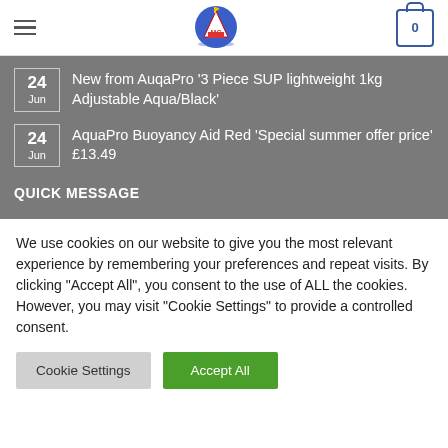Navigation header with hamburger menu, logo, and cart icon showing 0
24 Jun — New from AuqaPro '3 Piece SUP lightweight 1kg Adjustable Aqua/Black'
24 Jun — AquaPro Buoyancy Aid Red 'Special summer offer price' £13.49
QUICK MESSAGE
We use cookies on our website to give you the most relevant experience by remembering your preferences and repeat visits. By clicking "Accept All", you consent to the use of ALL the cookies. However, you may visit "Cookie Settings" to provide a controlled consent.